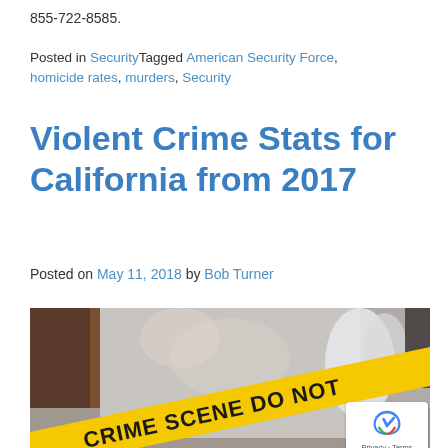855-722-8585.
Posted in SecurityTagged American Security Force, homicide rates, murders, Security
Violent Crime Stats for California from 2017
Posted on May 11, 2018 by Bob Turner
[Figure (photo): Crime scene tape in yellow reading 'CRIME SCENE DO NOT ENTER' stretched across a blurred indoor scene with a person in the background.]